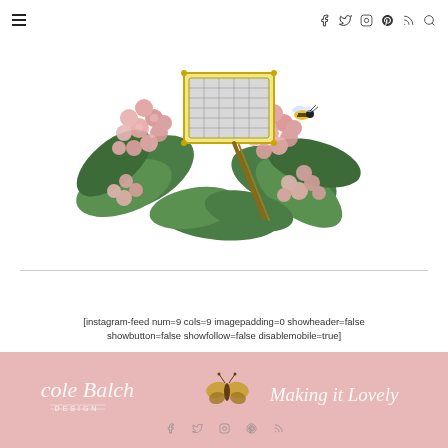Navigation bar with hamburger menu and social icons (f, twitter, instagram, pinterest, rss, search)
[Figure (illustration): Vintage botanical collage illustration featuring pink hydrangea flowers with green leaves, a decorative golden-framed graphic element, and a bee, rendered in watercolor/print style]
[instagram-feed num=9 cols=9 imagepadding=0 showheader=false showbutton=false showfollow=false disablemobile=true]
[Figure (logo): Nicole Balch Design logo in white script with 'DESIGN' in small caps, alongside a golden moth/butterfly illustration, and 'Making it Lovely' in white script — all on a pink background]
Footer with social icons: facebook, twitter, instagram, pinterest, rss